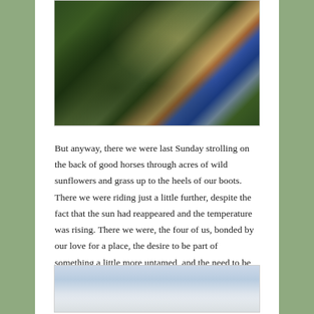[Figure (photo): Close-up photo showing a person's legs/boots standing in tall green grass and wild plants, with a red and white checkered fabric visible and blue jeans.]
But anyway, there we were last Sunday strolling on the back of good horses through acres of wild sunflowers and grass up to the heels of our boots. There we were riding just a little further, despite the fact that the sun had reappeared and the temperature was rising. There we were, the four of us, bonded by our love for a place, the desire to be part of something a little more untamed, and the need to be together out in it for as long as we could.
[Figure (photo): Partial photo showing a pale sky with light clouds and a distant horizon, possibly an open landscape or prairie scene.]